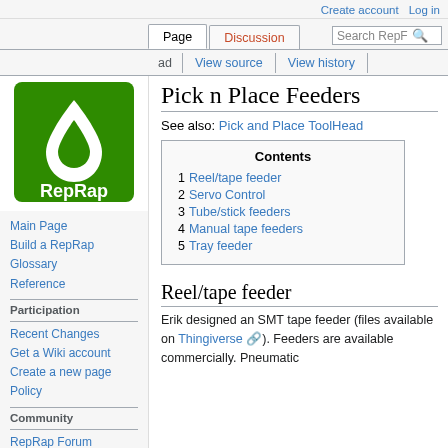Create account  Log in
[Figure (logo): RepRap wiki logo — green square with white droplet shape, text 'RepRap' below]
Pick n Place Feeders
See also: Pick and Place ToolHead
| Contents |
| --- |
| 1 Reel/tape feeder |
| 2 Servo Control |
| 3 Tube/stick feeders |
| 4 Manual tape feeders |
| 5 Tray feeder |
Reel/tape feeder
Erik designed an SMT tape feeder (files available on Thingiverse). Feeders are available commercially. Pneumatic